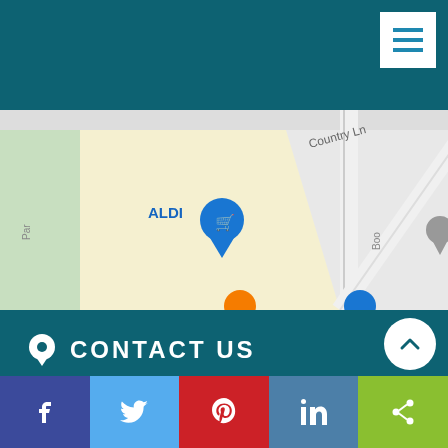[Figure (screenshot): Navigation bar with dark teal background and white menu hamburger button in top right]
[Figure (map): Google Maps snippet showing ALDI store, Hi-Crest Kennels, Country Ln road, near South Plainfield NJ]
CONTACT US
908-222-3200
906 Oak Tree Ave, Suite M, South Plainfield NJ 07080
dcce32@gmail.com
[Figure (infographic): Social media bar with Facebook, Twitter, Pinterest, LinkedIn, and Share buttons]